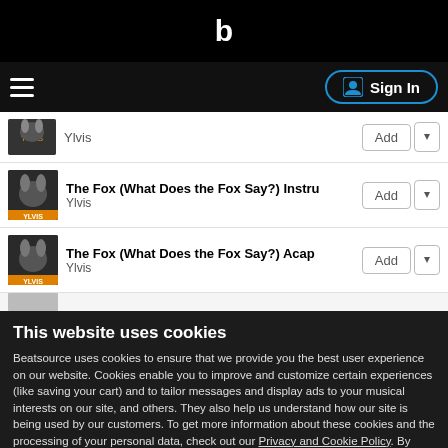Beatsource logo (b)
Sign In
Ylvis
The Fox (What Does the Fox Say?) Instru
Ylvis
Add
The Fox (What Does the Fox Say?) Acap
Ylvis
Add
This website uses cookies
Beatsource uses cookies to ensure that we provide you the best user experience on our website. Cookies enable you to improve and customize certain experiences (like saving your cart) and to tailor messages and display ads to your musical interests on our site, and others. They also help us understand how our site is being used by our customers. To get more information about these cookies and the processing of your personal data, check out our Privacy and Cookie Policy. By clicking Accept Recommended Cookies you consent to the cookies on our site.
Accept Recommended Cookies
Update Preferences